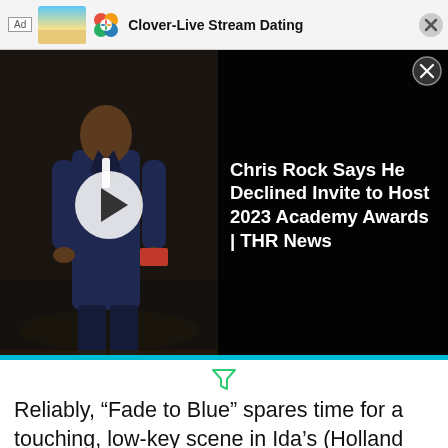[Figure (screenshot): Ad banner for Clover-Live Stream Dating app with heart logo and close button]
[Figure (screenshot): Video thumbnail of a man in a suit on a dark stage with a play button overlay, and text overlay reading: Chris Rock Says He Declined Invite to Host 2023 Academy Awards | THR News]
[Figure (other): Small decorative filter/funnel icon in teal/green color]
Reliably, “Fade to Blue” spares time for a touching, low-key scene in Ida’s (Holland Taylor) newly-built gazebo, attended by Bill, Holly, Ida and Jerome (Jharrel Jerome), and as unconventional as this group is, one of the great triumphs of Mr. Mercedes is that
when they say they love one another you can believe them. Jerome and Holly have perhaps been slightly underserved by this season, but as a group they play off each